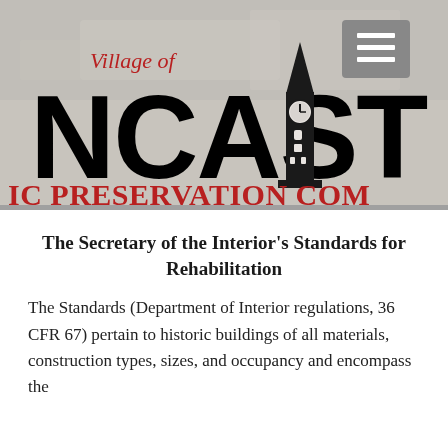[Figure (logo): Village of Lancaster Historic Preservation Commission logo/banner with clock tower image and text partially visible: 'Village of', 'NCAST' (Lancaster), 'IC PRESERVATION COM' (Historic Preservation Commission). A gray hamburger menu icon is in the upper right.]
The Secretary of the Interior's Standards for Rehabilitation
The Standards (Department of Interior regulations, 36 CFR 67) pertain to historic buildings of all materials, construction types, sizes, and occupancy and encompass the